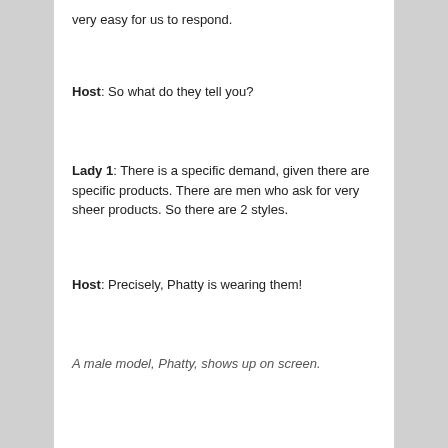very easy for us to respond.
Host: So what do they tell you?
Lady 1: There is a specific demand, given there are specific products. There are men who ask for very sheer products. So there are 2 styles.
Host: Precisely, Phatty is wearing them!
A male model, Phatty, shows up on screen.